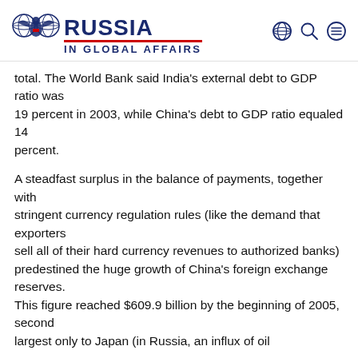Russia in Global Affairs
total. The World Bank said India's external debt to GDP ratio was 19 percent in 2003, while China's debt to GDP ratio equaled 14 percent.
A steadfast surplus in the balance of payments, together with stringent currency regulation rules (like the demand that exporters sell all of their hard currency revenues to authorized banks) predestined the huge growth of China's foreign exchange reserves. This figure reached $609.9 billion by the beginning of 2005, second largest only to Japan (in Russia, an influx of oil revenues...